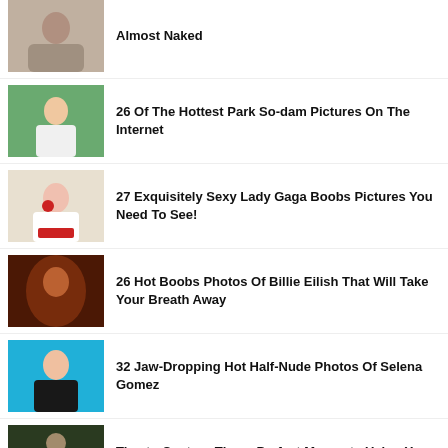Almost Naked
26 Of The Hottest Park So-dam Pictures On The Internet
27 Exquisitely Sexy Lady Gaga Boobs Pictures You Need To See!
26 Hot Boobs Photos Of Billie Eilish That Will Take Your Breath Away
32 Jaw-Dropping Hot Half-Nude Photos Of Selena Gomez
Tips to Capture Those Perfect Moments Using Your Smartphone